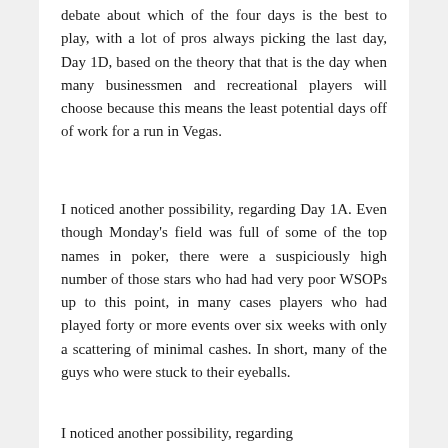debate about which of the four days is the best to play, with a lot of pros always picking the last day, Day 1D, based on the theory that that is the day when many businessmen and recreational players will choose because this means the least potential days off of work for a run in Vegas.
I noticed another possibility, regarding Day 1A. Even though Monday's field was full of some of the top names in poker, there were a suspiciously high number of those stars who had had very poor WSOPs up to this point, in many cases players who had played forty or more events over six weeks with only a scattering of minimal cashes. In short, many of the guys who were stuck to their eyeballs.
I noticed another possibility, regarding...